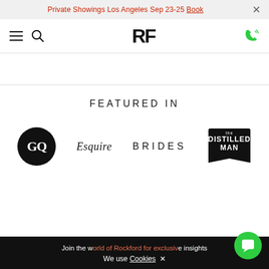Private Showings Los Angeles Sep 23-25 Book  ×
[Figure (logo): RF brand logo navigation bar with hamburger menu, search icon, RF wordmark, and phone icon]
FEATURED IN
[Figure (logo): Row of publication logos: GQ, Esquire, BRIDES, The Distilled Man]
Join the world of Rockford for exclusive insights  We use Cookies  ×